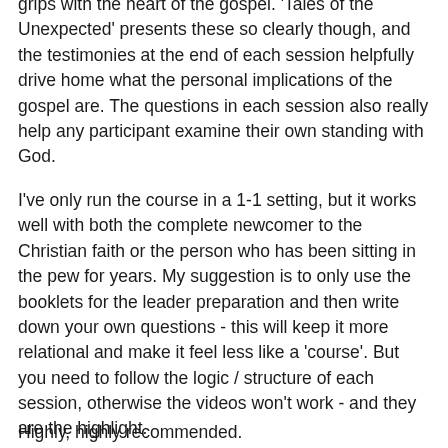grips with the heart of the gospel. 'Tales of the Unexpected' presents these so clearly though, and the testimonies at the end of each session helpfully drive home what the personal implications of the gospel are. The questions in each session also really help any participant examine their own standing with God.
I've only run the course in a 1-1 setting, but it works well with both the complete newcomer to the Christian faith or the person who has been sitting in the pew for years. My suggestion is to only use the booklets for the leader preparation and then write down your own questions - this will keep it more relational and make it feel less like a 'course'. But you need to follow the logic / structure of each session, otherwise the videos won't work - and they are the highlight.
Highly, highly recommended.